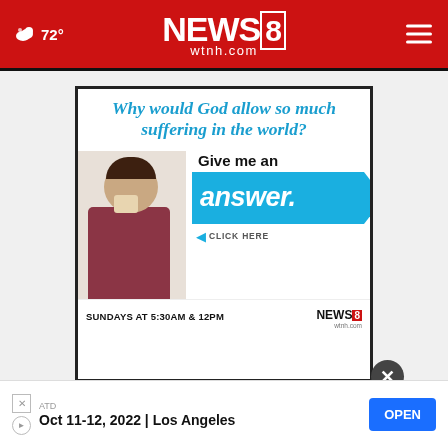72° NEWS 8 wtnh.com
[Figure (screenshot): Advertisement: Why would God allow so much suffering in the world? Give me an answer. CLICK HERE. SUNDAYS AT 5:30AM & 12PM NEWS 8 wtnh.com]
[Figure (screenshot): Close button (X) dark circle]
[Figure (screenshot): Bottom banner ad: ATD Oct 11-12, 2022 | Los Angeles with OPEN button]